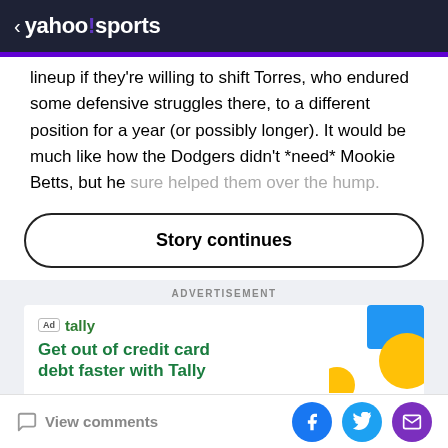< yahoo!sports
lineup if they're willing to shift Torres, who endured some defensive struggles there, to a different position for a year (or possibly longer). It would be much like how the Dodgers didn't *need* Mookie Betts, but he sure helped them over the hump.
Story continues
ADVERTISEMENT
[Figure (screenshot): Tally advertisement: 'Get out of credit card debt faster with Tally' with colorful geometric shapes on right side]
View comments